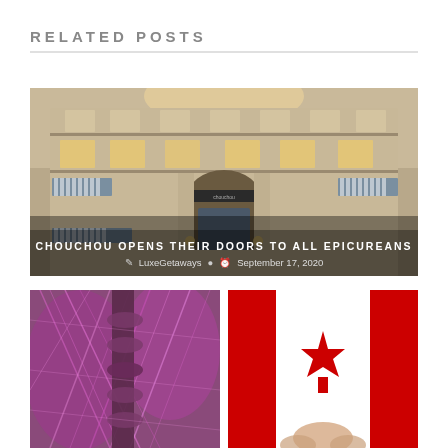RELATED POSTS
[Figure (photo): Exterior facade of Chouchou restaurant/hotel with Haussmann-style architecture, striped awnings, and ornate stonework at dusk]
CHOUCHOU OPENS THEIR DOORS TO ALL EPICUREANS
LuxeGetaways   September 17, 2020
[Figure (photo): Close-up of purple and pink fiber/botanical textures with abstract organic forms]
[Figure (photo): Red Canadian maple leaf flag with a person's hands partially visible]